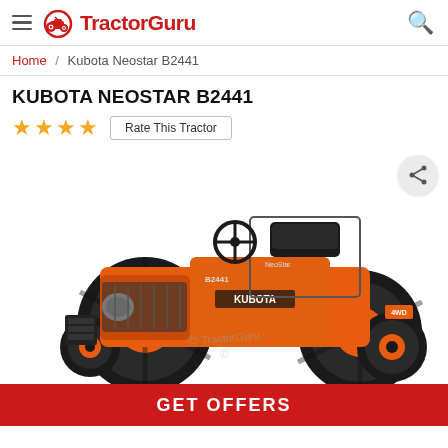TractorGuru
Home / Kubota Neostar B2441
KUBOTA NEOSTAR B2441
★★★★ Rate This Tractor
[Figure (photo): Orange Kubota Neostar B2441 compact tractor with black seat, KUBOTA branding on hood, 4WD, large rear wheels and smaller front wheels, on white background with TractorGuru watermark]
GET OFFERS